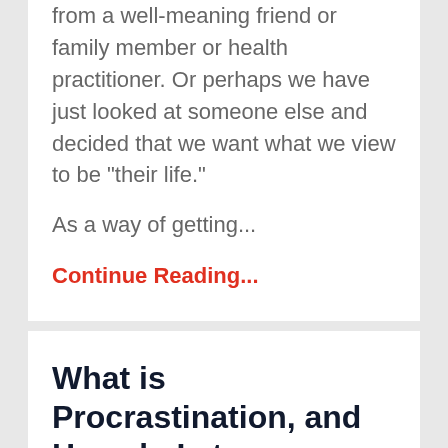from a well-meaning friend or family member or health practitioner. Or perhaps we have just looked at someone else and decided that we want what we view to be "their life."
As a way of getting...
Continue Reading...
What is Procrastination, and How do I stop procrastinating?